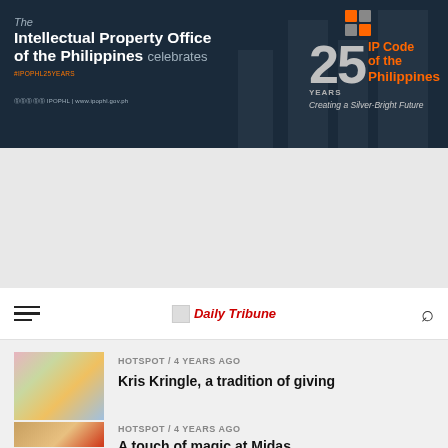[Figure (infographic): Banner ad for the Intellectual Property Office of the Philippines celebrating 25 years of the IP Code of the Philippines. Text reads: 'The Intellectual Property Office of the Philippines celebrates #IPOPHL25YEARS | 25 YEARS IP Code of the Philippines | Creating a Silver-Bright Future'. Includes social media icons and website URL.]
[Figure (infographic): Gray advertisement placeholder area]
[Figure (screenshot): Daily Tribune website navigation bar with hamburger menu icon on left, Daily Tribune logo in center, and search icon on right]
HOTSPOT / 4 years ago
Kris Kringle, a tradition of giving
HOTSPOT / 4 years ago
A touch of magic at Midas